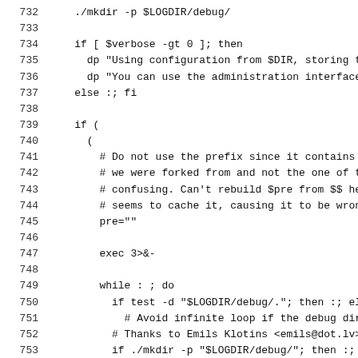732    ./mkdir -p $LOGDIR/debug/
733
734    if [ $verbose -gt 0 ]; then
735      dp "Using configuration from $DIR, storing the
736      dp "You can use the administration interface in
737    else :; fi
738
739    if (
740      (
741        # Do not use the prefix since it contains the
742        # we were forked from and not the one of this
743        # confusing. Can't rebuild $pre from $$ here,
744        # seems to cache it, causing it to be wrong h
745        pre=""
746
747        exec 3>&-
748
749        while : ; do
750          if test -d "$LOGDIR/debug/."; then :; else
751            # Avoid infinite loop if the debug direct
752          # Thanks to Emils Klotins <emils@dot.lv> fo
753          if ./mkdir -p "$LOGDIR/debug/"; then :; els
754              dp "Failed to create log directory $LOG
755              exit 1
756            fi
757          fi